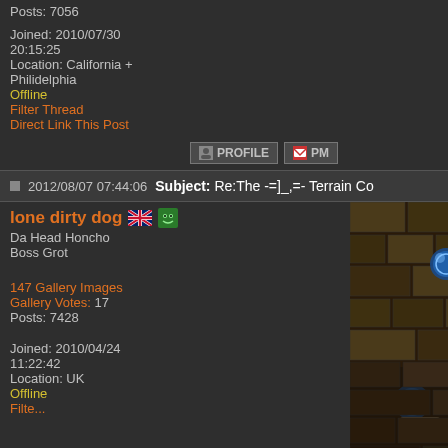Posts: 7056
Joined: 2010/07/30 20:15:25
Location: California + Philidelphia
Offline
Filter Thread
Direct Link This Post
PROFILE  PM
2012/08/07 07:44:06  Subject: Re:The -=]_,=- Terrain Co
lone dirty dog
Da Head Honcho
Boss Grot
147 Gallery Images
Gallery Votes: 17
Posts: 7428
Joined: 2010/04/24 11:22:42
Location: UK
Offline
Filte...
[Figure (screenshot): Game screenshot showing a dark dungeon/terrain scene with blue orb/cannon elements and stone/brick background]